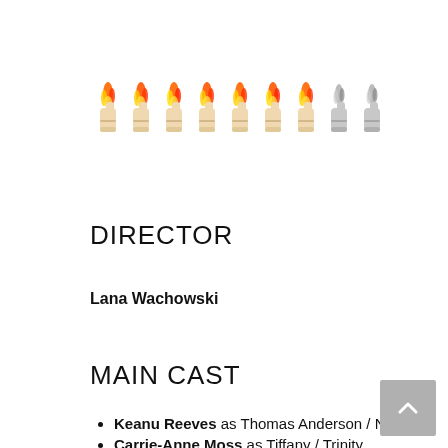[Figure (illustration): Rating graphic showing 8 flame thumbs-up icons (7 colored/orange flame, 1-2 grey/silver), arranged in a row representing a score rating]
DIRECTOR
Lana Wachowski
MAIN CAST
Keanu Reeves as Thomas Anderson / Neo
Carrie-Anne Moss as Tiffany / Trinity
Yahya Abdul-Mateen II as Morpheus